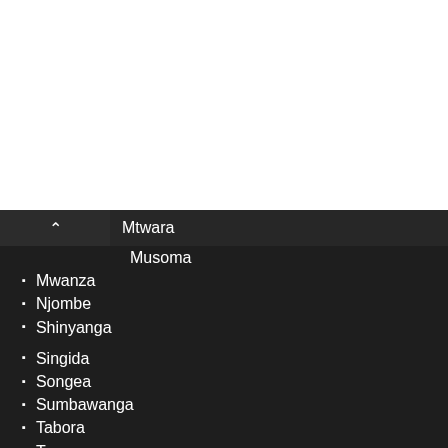[Figure (logo): Advertisement banner with circular black logo with infinity/loop symbol in white, checkmark and 'In-store shopping' text in gray, and blue diamond navigation icon on the right. Play and close icons at bottom left.]
Mtwara (partially visible)
Musoma
Mwanza
Njombe
Shinyanga
Singida
Songea
Sumbawanga
Tabora
Tanga
Tunduma
Zanzibar City
For job seekers: Create an account | Create a resume | My account | Find jobs
For recruiters: Create an account | My account | Post a job | My jobs | Talent Search
Abouttanzania-jobs.com | Privacy policy | Terms and conditions | Sitemap | Contact us
©2022 Copyrights – tanzania-jobs.com